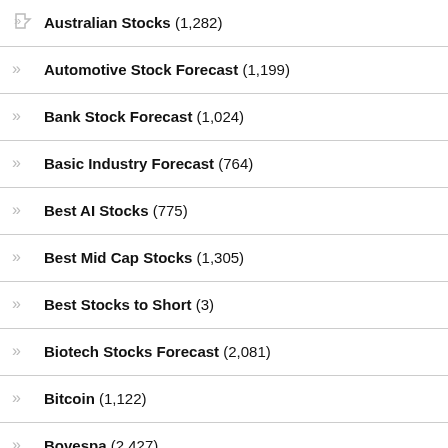Australian Stocks (1,282)
Automotive Stock Forecast (1,199)
Bank Stock Forecast (1,024)
Basic Industry Forecast (764)
Best AI Stocks (775)
Best Mid Cap Stocks (1,305)
Best Stocks to Short (3)
Biotech Stocks Forecast (2,081)
Bitcoin (1,122)
Bovespa (2,427)
Brazil Stock Forecast (1,883)
Canadian Stock Forecast (1,236)